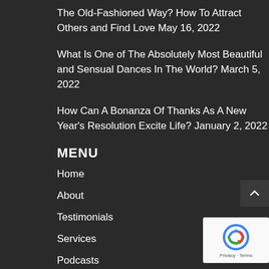The Old-Fashioned Way? How To Attract Others and Find Love May 16, 2022
What Is One of The Absolutely Most Beautiful and Sensual Dances In The World? March 5, 2022
How Can A Bonanza Of Thanks As A New Year's Resolution Excite Life? January 2, 2022
MENU
Home
About
Testimonials
Services
Podcasts
Videos